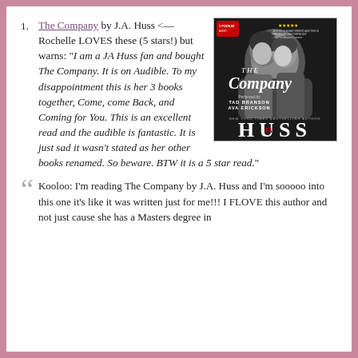The Company by J.A. Huss <— Rochelle LOVES these (5 stars!) but warns: "I am a JA Huss fan and bought The Company. It is on Audible. To my disappointment this is her 3 books together, Come, come Back, and Coming for You. This is an excellent read and the audible is fantastic. It is just sad it wasn't stated as her other books renamed. So beware. BTW it is a 5 star read."
[Figure (illustration): Book cover for 'The Company' by J.A. Huss, featuring a black and white image of two people embracing, with text 'Performed by Tad Branson & Ava Erickson' and 'New York Times Bestselling Author HUSS']
Kooloo: I'm reading The Company by J.A. Huss and I'm sooooo into this one it's like it was written just for me!!! I FLOVE this author and not just cause she has a Masters degree in